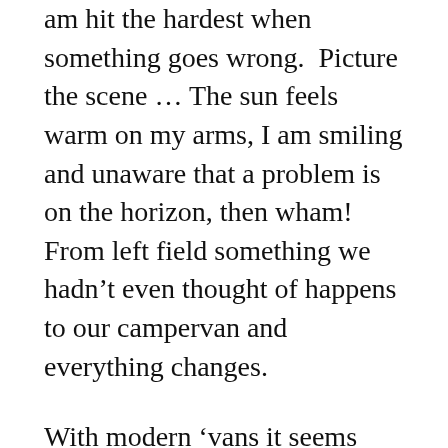am hit the hardest when something goes wrong.  Picture the scene … The sun feels warm on my arms, I am smiling and unaware that a problem is on the horizon, then wham!  From left field something we hadn't even thought of happens to our campervan and everything changes.
With modern 'vans it seems there are so many things that can go wrong, more than I could list or dream of.  In September we had only driven 30 km from the port in Bilbao in Spain and our Blue Bus started beeping and flashing red lights in alarm.  The power steering had failed!  Who knew this could happen!  Fortunately we were in a car park, rather than